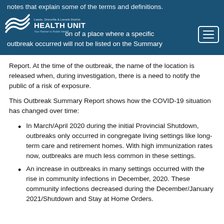notes that explain some of the terms and definitions. ...the location of a place where a specific outbreak occurred will not be listed on the Summary Report. At the time of the outbreak, the name of the location is released when, during investigation, there is a need to notify the public of a risk of exposure.
Report. At the time of the outbreak, the name of the location is released when, during investigation, there is a need to notify the public of a risk of exposure.
This Outbreak Summary Report shows how the COVID-19 situation has changed over time:
In March/April 2020 during the initial Provincial Shutdown, outbreaks only occurred in congregate living settings like long-term care and retirement homes. With high immunization rates now, outbreaks are much less common in these settings.
An increase in outbreaks in many settings occurred with the rise in community infections in December, 2020. These community infections decreased during the December/January 2021/Shutdown and Stay at Home Orders.